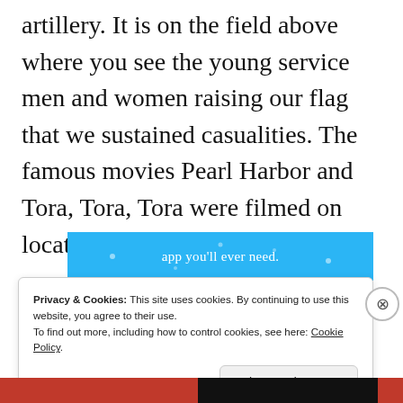artillery. It is on the field above where you see the young service men and women raising our flag that we sustained casualities. The famous movies Pearl Harbor and Tora, Tora, Tora were filmed on location here.
[Figure (screenshot): Blue banner ad strip with text 'app you'll ever need.' and decorative dots]
Privacy & Cookies: This site uses cookies. By continuing to use this website, you agree to their use.
To find out more, including how to control cookies, see here: Cookie Policy
Close and accept